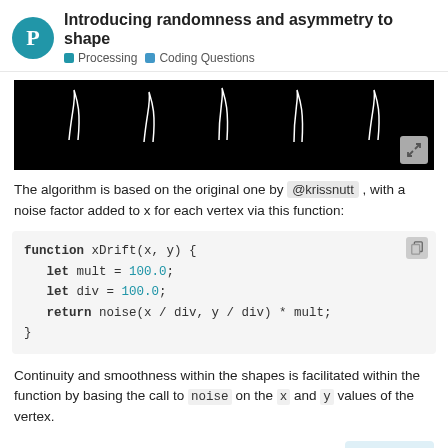Introducing randomness and asymmetry to shape — Processing — Coding Questions
[Figure (screenshot): Black background image showing white curved/squiggly shape outlines on dark background]
The algorithm is based on the original one by @krissnutt , with a noise factor added to x for each vertex via this function:
function xDrift(x, y) {
  let mult = 100.0;
  let div = 100.0;
  return noise(x / div, y / div) * mult;
}
Continuity and smoothness within the shapes is facilitated within the function by basing the call to noise on the x and y values of the vertex.
Here's the complete code:
17 / 41